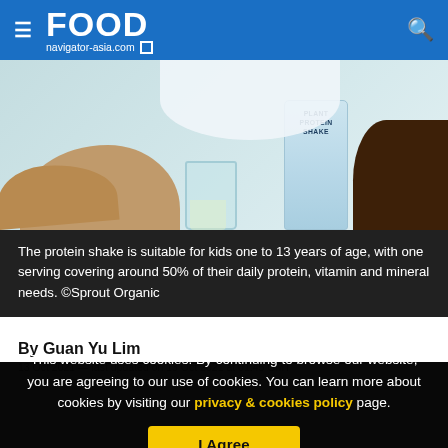FOOD navigator-asia.com
[Figure (photo): Photo of hands on a table with a Plant Protein Shake can and a glass, showing a nutritional consultation scene]
The protein shake is suitable for kids one to 13 years of age, with one serving covering around 50% of their daily protein, vitamin and mineral needs. ©Sprout Organic
By Guan Yu Lim
This website uses cookies. By continuing to browse our website, you are agreeing to our use of cookies. You can learn more about cookies by visiting our privacy & cookies policy page.